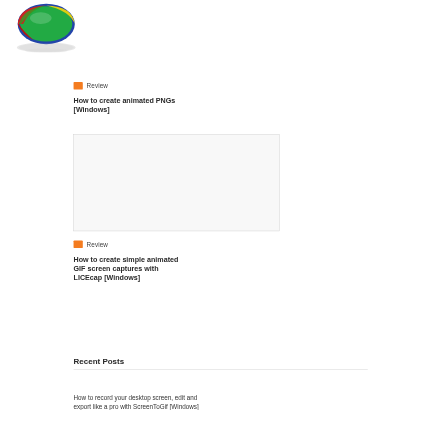[Figure (logo): Colorful 3D oval/egg logo with red, green, yellow, blue segments and a reflection below it]
Review
How to create animated PNGs [Windows]
[Figure (screenshot): Thumbnail/screenshot placeholder with light gray background and thin border]
Review
How to create simple animated GIF screen captures with LICEcap [Windows]
Recent Posts
How to record your desktop screen, edit and export like a pro with ScreenToGif [Windows]